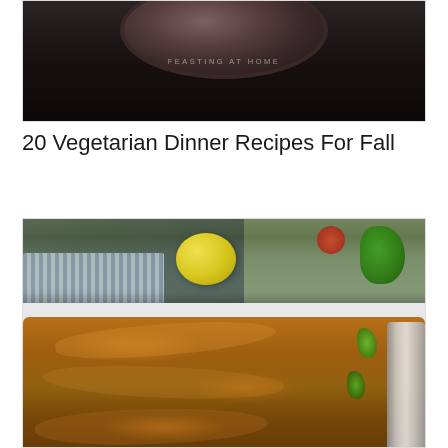[Figure (photo): Dark photograph of a plate/bowl with watermark text 'FEASTING AT HOME' centered in the image, dark moody background]
20 Vegetarian Dinner Recipes For Fall
[Figure (photo): Close-up food photography of glazed pork chops or chicken pieces in a white baking dish with brown sauce/glaze, garnished with fresh rosemary/thyme herbs, with a serving spoon visible on the right. Background shows lemon, tomatoes, parsley, and blue checkered cloth.]